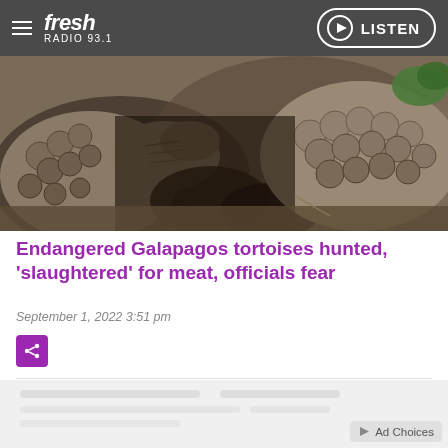Fresh Radio 93.1 — LISTEN
[Figure (photo): Close-up photograph of a Galapagos tortoise, showing wrinkled skin and scaly legs and body, on a natural background.]
Endangered Galapagos tortoises hunted, 'slaughtered' for meat, officials fear
September 1, 2022  3:51 pm
[Figure (other): Advertisement placeholder area with Ad Choices label in corner.]